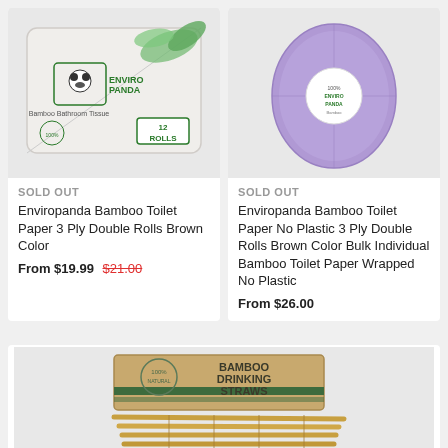[Figure (photo): Enviropanda Bamboo Bathroom Tissue 12 rolls package in white plastic wrapping with green bamboo design and panda logo]
SOLD OUT
Enviropanda Bamboo Toilet Paper 3 Ply Double Rolls Brown Color
From $19.99 $21.00
[Figure (photo): Single roll of purple/lavender toilet paper with Enviropanda label sticker, no plastic wrapping]
SOLD OUT
Enviropanda Bamboo Toilet Paper No Plastic 3 Ply Double Rolls Brown Color Bulk Individual Bamboo Toilet Paper Wrapped No Plastic
From $26.00
[Figure (photo): Bamboo drinking straws product — a brown kraft paper box labeled BAMBOO DRINKING STRAWS with bamboo straws fanned out beneath it]